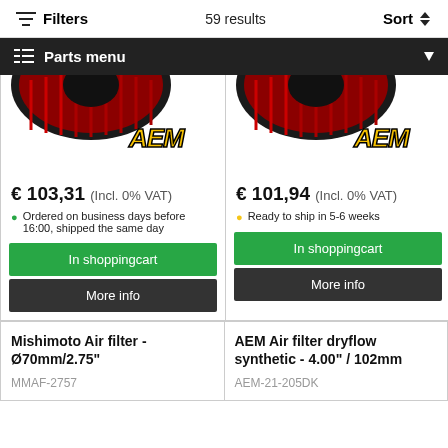Filters  59 results  Sort
Parts menu
[Figure (photo): AEM air filter product image with red filter media and AEM logo - left card]
€ 103,31 (Incl. 0% VAT)
Ordered on business days before 16:00, shipped the same day
In shoppingcart
More info
[Figure (photo): AEM air filter product image with red filter media and AEM logo - right card]
€ 101,94 (Incl. 0% VAT)
Ready to ship in 5-6 weeks
In shoppingcart
More info
Mishimoto Air filter - Ø70mm/2.75"
MMAF-2757
AEM Air filter dryflow synthetic - 4.00" / 102mm
AEM-21-205DK